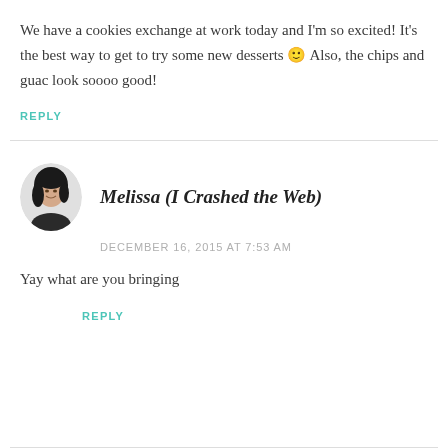We have a cookies exchange at work today and I'm so excited! It's the best way to get to try some new desserts 🙂 Also, the chips and guac look soooo good!
REPLY
[Figure (photo): Small circular black and white avatar photo of a woman with dark hair, smiling]
Melissa (I Crashed the Web)
DECEMBER 16, 2015 AT 7:53 AM
Yay what are you bringing
REPLY